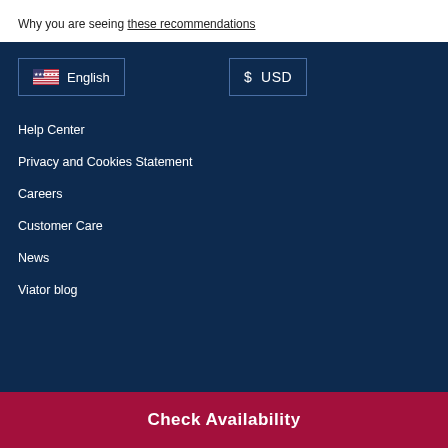Why you are seeing these recommendations
English (language selector button)
$ USD (currency selector button)
Help Center
Privacy and Cookies Statement
Careers
Customer Care
News
Viator blog
Check Availability